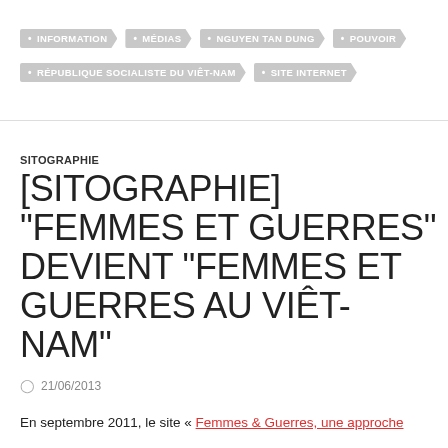INFORMATION
MÉDIAS
NGUYEN TAN DUNG
POUVOIR
RÉPUBLIQUE SOCIALISTE DU VIÊT-NAM
SITE INTERNET
SITOGRAPHIE
[SITOGRAPHIE] “FEMMES ET GUERRES” DEVIENT “FEMMES ET GUERRES AU VIÊ T-NAM”
21/06/2013
En septembre 2011, le site « Femmes & Guerres, une approche